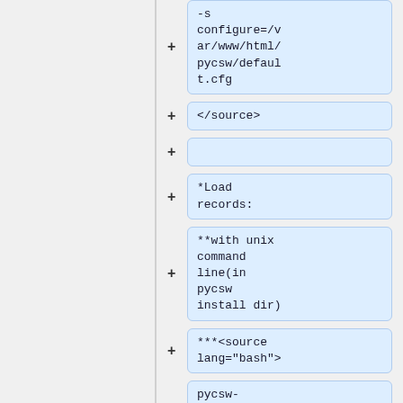-s configure=/var/www/html/pycsw/default.cfg
</source>
*Load records:
**with unix command line(in pycsw install dir)
***<source lang="bash">
pycsw-admin.py -c